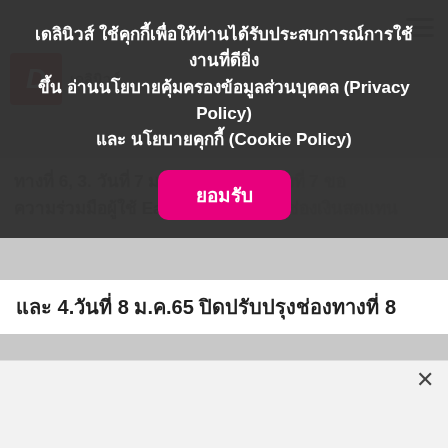[Figure (screenshot): Cookie consent banner overlay on a Thai news website (Dailynews). The overlay contains Thai text about cookies and privacy policy, a magenta 'ยอมรับ' (Accept) button, and behind it a blurred news page with a logo and text content.]
เดลินิวส์ ใช้คุกกี้เพื่อให้ท่านได้รับประสบการณ์การใช้งานที่ดียิ่งขึ้น อ่านนโยบายคุ้มครองข้อมูลส่วนบุคคล (Privacy Policy) และ นโยบายคุกกี้ (Cookie Policy)
ยอมรับ
ทางที่ 6, 3. วันที่ 7 ม.ค. ปิดปรุงช่องทางที่ 7 ขอความร่วมมือผู้ใช้ Easy Pass เพิ่มเข้าช่องเงินสดแทน
และ 4.วันที่ 8 ม.ค.65 ปิดปรับปรุงช่องทางที่ 8
×